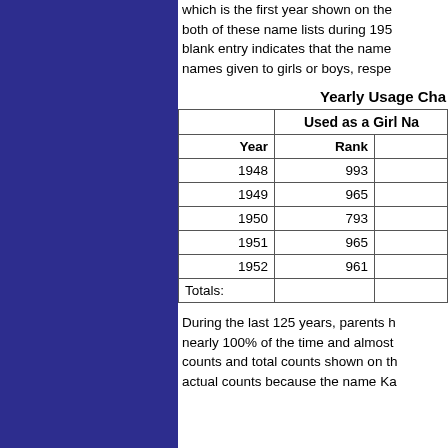which is the first year shown on the both of these name lists during 195 blank entry indicates that the name names given to girls or boys, respe
Yearly Usage Cha
|  | Used as a Girl Na |  |
| --- | --- | --- |
| Year | Rank |  |
| 1948 | 993 |  |
| 1949 | 965 |  |
| 1950 | 793 |  |
| 1951 | 965 |  |
| 1952 | 961 |  |
| Totals: |  |  |
During the last 125 years, parents h nearly 100% of the time and almost counts and total counts shown on th actual counts because the name Ka